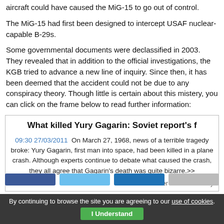aircraft could have caused the MiG-15 to go out of control.
The MiG-15 had first been designed to intercept USAF nuclear-capable B-29s.
Some governmental documents were declassified in 2003. They revealed that in addition to the official investigations, the KGB tried to advance a new line of inquiry. Since then, it has been deemed that the accident could not be due to any conspiracy theory. Though little is certain about this mistery, you can click on the frame below to read further information:
[Figure (screenshot): Embedded news article frame: 'What killed Yury Gagarin: Soviet report's f...' with dateline 09:30 27/03/2011 and excerpt about Gagarin's death, plus 'Other news of the day' link.]
By continuing to browse the site you are agreeing to our use of cookies. I Understand